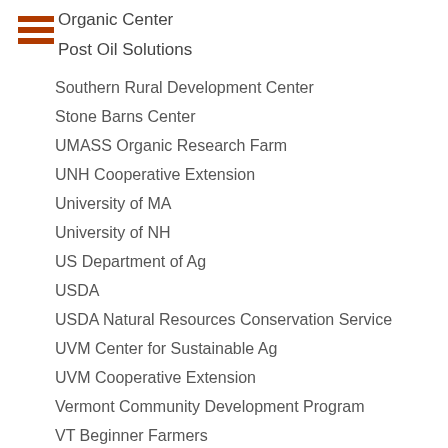Organic Center
Post Oil Solutions
Southern Rural Development Center
Stone Barns Center
UMASS Organic Research Farm
UNH Cooperative Extension
University of MA
University of NH
US Department of Ag
USDA
USDA Natural Resources Conservation Service
UVM Center for Sustainable Ag
UVM Cooperative Extension
Vermont Community Development Program
VT Beginner Farmers
Wallace Center